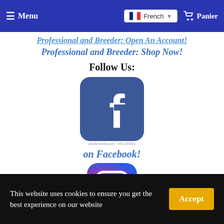Menu | French | Panier
Professional and Breeder: Open An Account!
Professional and Breeder: Shop Now!
Follow Us:
[Figure (logo): Facebook logo — rounded square blue icon with white lowercase 'f' and small watermark text below]
on Facebook!
[Figure (logo): Instagram logo — rounded square with gradient pink/purple background and camera icon]
This website uses cookies to ensure you get the best experience on our website